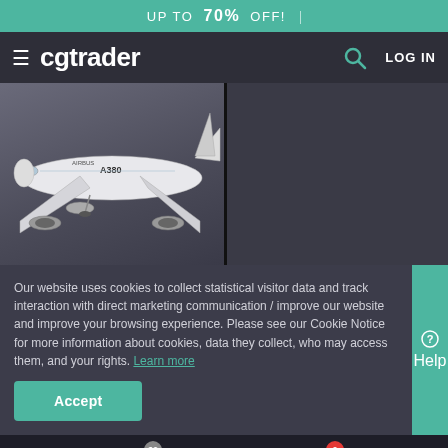UP TO 70% OFF!
[Figure (screenshot): CGTrader website navigation bar with hamburger menu, logo 'cgtrader', search icon, and LOG IN button]
[Figure (photo): Two 3D model thumbnails side by side: left shows an Airbus A380 aircraft model on gray background; right shows a cockpit interior with instrument panel, tagged Rigged, Animated, Lowpoly]
Our website uses cookies to collect statistical visitor data and track interaction with direct marketing communication / improve our website and improve your browsing experience. Please see our Cookie Notice for more information about cookies, data they collect, who may access them, and your rights. Learn more
Accept